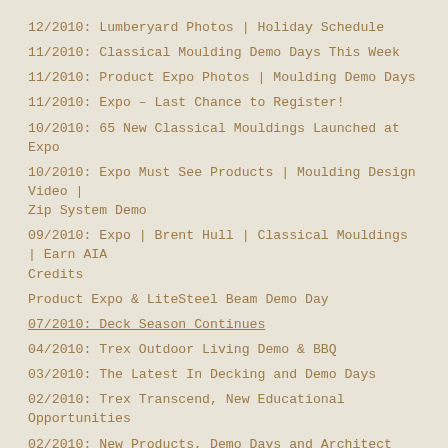12/2010: Lumberyard Photos | Holiday Schedule
11/2010: Classical Moulding Demo Days This Week
11/2010: Product Expo Photos | Moulding Demo Days
11/2010: Expo – Last Chance to Register!
10/2010: 65 New Classical Mouldings Launched at Expo
10/2010: Expo Must See Products | Moulding Design Video | Zip System Demo
09/2010: Expo | Brent Hull | Classical Mouldings | Earn AIA Credits
Product Expo & LiteSteel Beam Demo Day
07/2010: Deck Season Continues
04/2010: Trex Outdoor Living Demo & BBQ
03/2010: The Latest In Decking and Demo Days
02/2010: Trex Transcend, New Educational Opportunities
02/2010: New Products, Demo Days and Architect Event
11/2009: OnSite Roadshow